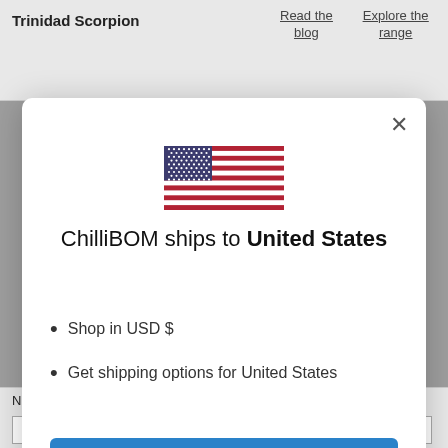Trinidad Scorpion
Read the blog
Explore the range
[Figure (screenshot): Modal dialog showing US flag, text 'ChilliBOM ships to United States', bullet points 'Shop in USD $' and 'Get shipping options for United States', a blue 'Shop now' button, and a 'Change shipping country' link]
Name